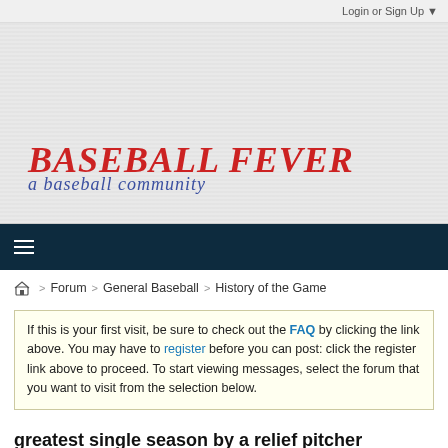Login or Sign Up ▼
[Figure (logo): Baseball Fever logo — red bold italic uppercase text 'BASEBALL FEVER' with blue cursive subtitle 'a baseball community' on a grey textured banner background]
≡ (hamburger menu icon)
🏠 > Forum > General Baseball > History of the Game
If this is your first visit, be sure to check out the FAQ by clicking the link above. You may have to register before you can post: click the register link above to proceed. To start viewing messages, select the forum that you want to visit from the selection below.
greatest single season by a relief pitcher